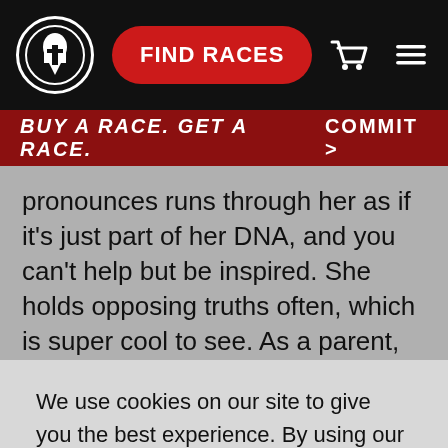FIND RACES
BUY A RACE. GET A RACE.   COMMIT >
pronounces runs through her as if it's just part of her DNA, and you can't help but be inspired. She holds opposing truths often, which is super cool to see. As a parent, she's flexible but firm. As a business owner, she's unrelenting but unattached. And as an athlete, she's tough but tolerant. In this way she's like Yoda, and I'm a better person because of
We use cookies on our site to give you the best experience. By using our site you agree to our use of cookies in accordance with our Privacy Policy.
ACCEPT
CLOSE